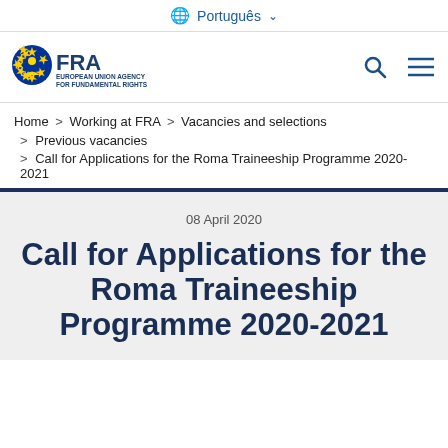🌐 Português ▾
[Figure (logo): FRA European Union Agency for Fundamental Rights logo]
Home > Working at FRA > Vacancies and selections
> Previous vacancies
> Call for Applications for the Roma Traineeship Programme 2020-2021
08 April 2020
Call for Applications for the Roma Traineeship Programme 2020-2021